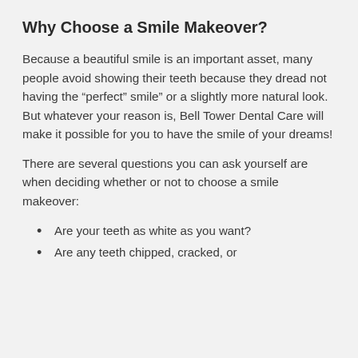Why Choose a Smile Makeover?
Because a beautiful smile is an important asset, many people avoid showing their teeth because they dread not having the “perfect” smile” or a slightly more natural look. But whatever your reason is, Bell Tower Dental Care will make it possible for you to have the smile of your dreams!
There are several questions you can ask yourself are when deciding whether or not to choose a smile makeover:
Are your teeth as white as you want?
Are any teeth chipped, cracked, or